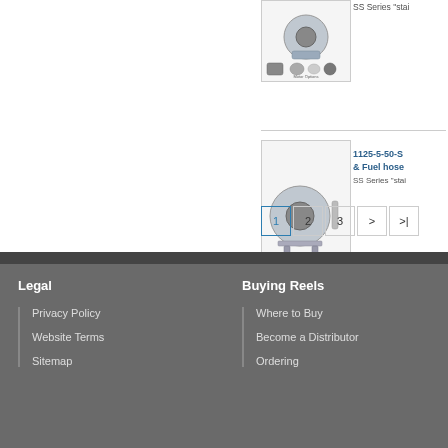[Figure (photo): Product image of hose reel with motor options - top partial view]
SS Series "stai
[Figure (photo): Product image of 1125-5-50-S hose reel with motor options]
1125-5-50-S… & Fuel hose …
SS Series "stai
1  2  3  >  >|
Legal
Privacy Policy
Website Terms
Sitemap
Buying Reels
Where to Buy
Become a Distributor
Ordering